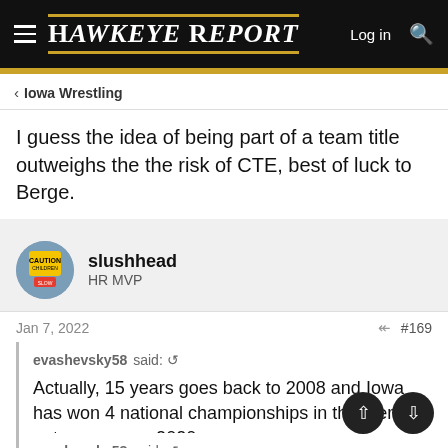Hawkeye Report — Log in
< Iowa Wrestling
I guess the idea of being part of a team title outweighs the the risk of CTE, best of luck to Berge.
slushhead
HR MVP
Jan 7, 2022  #169
evashevsky58 said: Actually, 15 years goes back to 2008 and Iowa has won 4 national championships in that period not counting 2020.